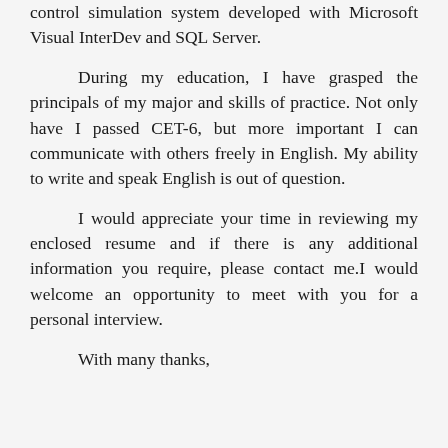control simulation system developed with Microsoft Visual InterDev and SQL Server.
During my education, I have grasped the principals of my major and skills of practice. Not only have I passed CET-6, but more important I can communicate with others freely in English. My ability to write and speak English is out of question.
I would appreciate your time in reviewing my enclosed resume and if there is any additional information you require, please contact me.I would welcome an opportunity to meet with you for a personal interview.
With many thanks,